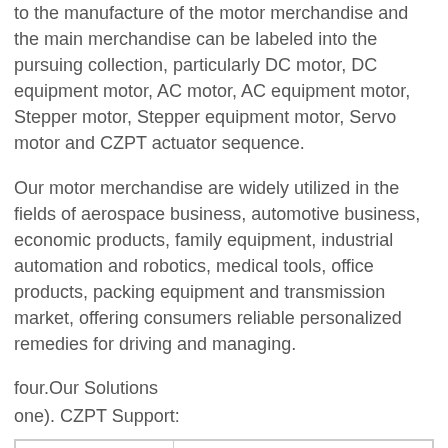to the manufacture of the motor merchandise and the main merchandise can be labeled into the pursuing collection, particularly DC motor, DC equipment motor, AC motor, AC equipment motor, Stepper motor, Stepper equipment motor, Servo motor and CZPT actuator sequence.
Our motor merchandise are widely utilized in the fields of aerospace business, automotive business, economic products, family equipment, industrial automation and robotics, medical tools, office products, packing equipment and transmission market, offering consumers reliable personalized remedies for driving and managing.
four.Our Solutions
one). CZPT Support:
| Swift Reply | All enquiry or e-mail be replied in twelve several hours, no hold off for |